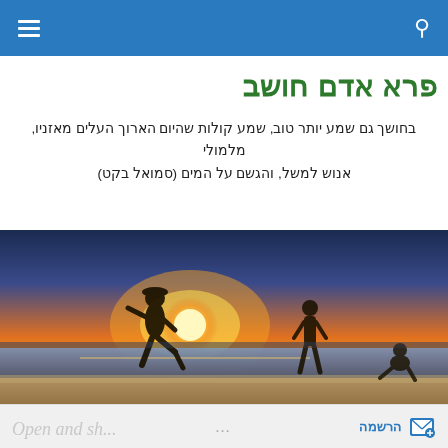Search | Menu
פרא אדם חושב
בחושך גם שמע יותר טוב, שמע קולות שהיום הארוך העלים מאזניו, מלמולי אנוש למשל, והגשם על המים (סמואל בקט)
[Figure (photo): Two silhouetted figures standing on a beach at sunset with orange/golden sky and ocean in the background; a smaller figure crouching at right.]
TAGGED WITH MYTHOLOGY
Open and share ... הרשמה